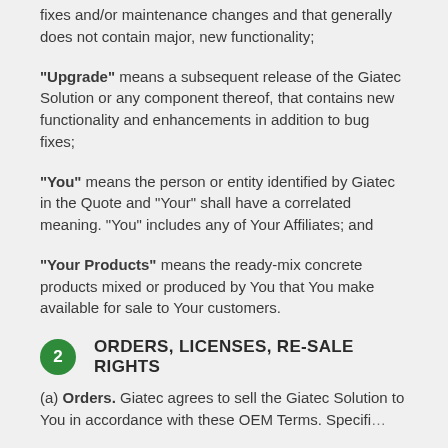fixes and/or maintenance changes and that generally does not contain major, new functionality;
"Upgrade" means a subsequent release of the Giatec Solution or any component thereof, that contains new functionality and enhancements in addition to bug fixes;
"You" means the person or entity identified by Giatec in the Quote and "Your" shall have a correlated meaning. "You" includes any of Your Affiliates; and
"Your Products" means the ready-mix concrete products mixed or produced by You that You make available for sale to Your customers.
2  ORDERS, LICENSES, RE-SALE RIGHTS
(a) Orders. Giatec agrees to sell the Giatec Solution to You in accordance with these OEM Terms. Specifi...